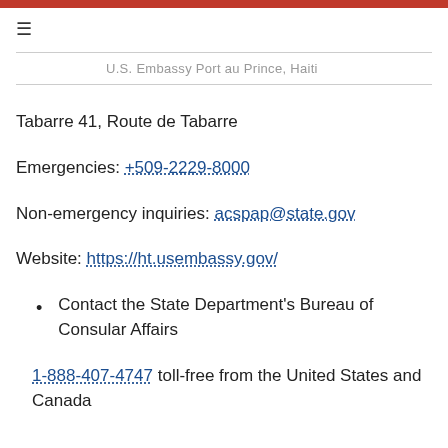U.S. Embassy Port au Prince, Haiti
Tabarre 41, Route de Tabarre
Emergencies: +509-2229-8000
Non-emergency inquiries: acspap@state.gov
Website: https://ht.usembassy.gov/
Contact the State Department's Bureau of Consular Affairs
1-888-407-4747 toll-free from the United States and Canada